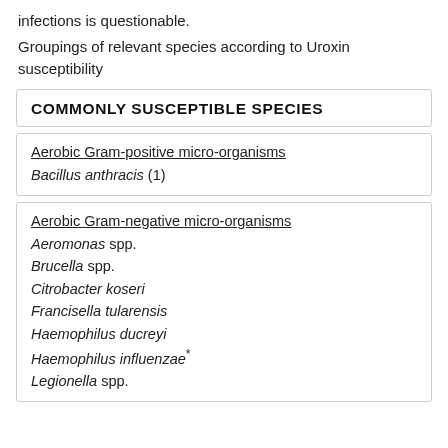infections is questionable.
Groupings of relevant species according to Uroxin susceptibility
| COMMONLY SUSCEPTIBLE SPECIES |
| --- |
| Aerobic Gram-positive micro-organisms |
| Bacillus anthracis (1) |
| Aerobic Gram-negative micro-organisms |
| Aeromonas spp. |
| Brucella spp. |
| Citrobacter koseri |
| Francisella tularensis |
| Haemophilus ducreyi |
| Haemophilus influenzae* |
| Legionella spp. |